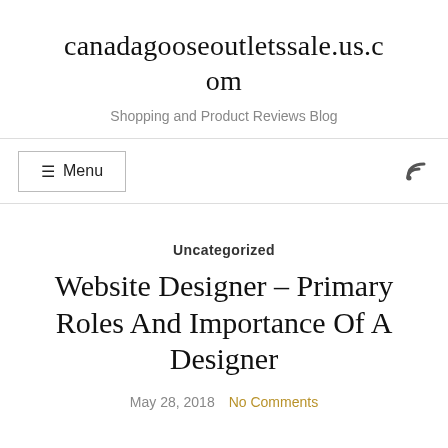canadagooseoutletssale.us.com
Shopping and Product Reviews Blog
☰ Menu
Uncategorized
Website Designer – Primary Roles And Importance Of A Designer
May 28, 2018   No Comments